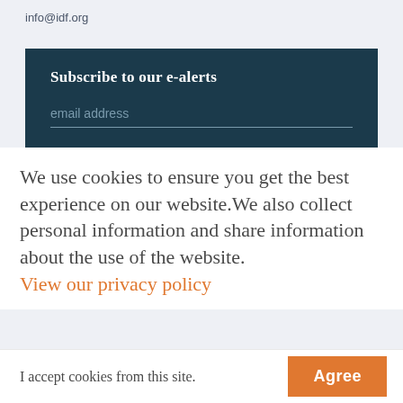info@idf.org
Subscribe to our e-alerts
email address
We use cookies to ensure you get the best experience on our website.We also collect personal information and share information about the use of the website. View our privacy policy
I accept cookies from this site.
Agree